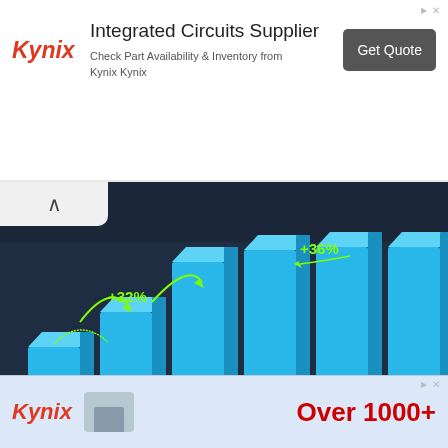[Figure (other): Kynix advertisement banner: Integrated Circuits Supplier, Check Part Availability & Inventory from Kynix Kynix, Get Quote button]
[Figure (bar-chart): Bar chart showing salary increase by years of experience with +32% label on 2-to-5 bar and +36% label on 5-to-10 bar. Bars are 3D blue/cyan style on dark background with blurred office photo behind.]
Results may vary based on location, the type of job, and from one person to another
Share This Chart
Tweet  Share  Save  Get Chart Link
[Figure (other): Kynix advertisement banner bottom: Over 1000+]